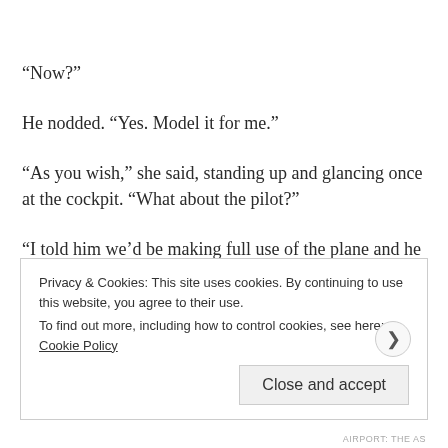“Now?”
He nodded. “Yes. Model it for me.”
“As you wish,” she said, standing up and glancing once at the cockpit. “What about the pilot?”
“I told him we’d be making full use of the plane and he said he’d have his eyes on the sky the whole time.”
Privacy & Cookies: This site uses cookies. By continuing to use this website, you agree to their use.
To find out more, including how to control cookies, see here: Cookie Policy
Close and accept
AIRPORT: THE AS